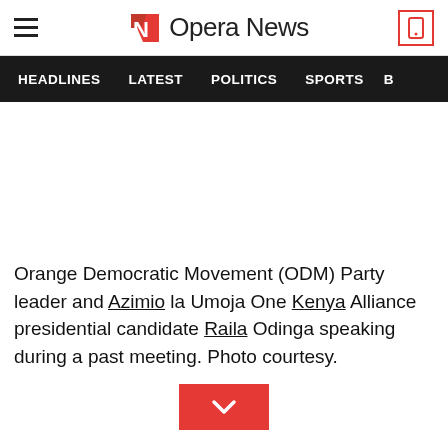Opera News
HEADLINES  LATEST  POLITICS  SPORTS  B
[Figure (other): Blank white advertisement/image area]
Orange Democratic Movement (ODM) Party leader and Azimio la Umoja One Kenya Alliance presidential candidate Raila Odinga speaking during a past meeting. Photo courtesy.